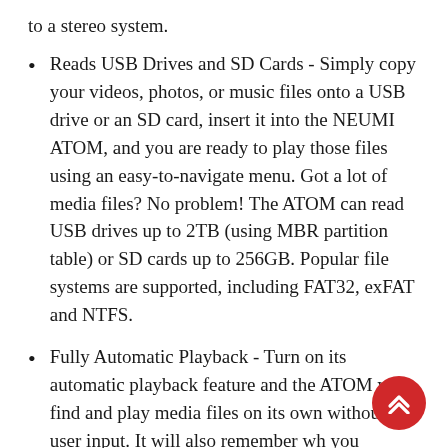to a stereo system.
Reads USB Drives and SD Cards - Simply copy your videos, photos, or music files onto a USB drive or an SD card, insert it into the NEUMI ATOM, and you are ready to play those files using an easy-to-navigate menu. Got a lot of media files? No problem! The ATOM can read USB drives up to 2TB (using MBR partition table) or SD cards up to 256GB. Popular file systems are supported, including FAT32, exFAT and NTFS.
Fully Automatic Playback - Turn on its automatic playback feature and the ATOM will find and play media files on its own without any user input. It will also remember wh you stopped watching on a video and resume